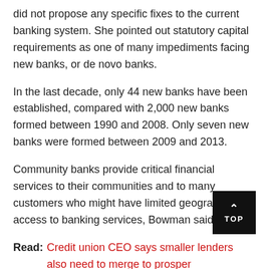did not propose any specific fixes to the current banking system. She pointed out statutory capital requirements as one of many impediments facing new banks, or de novo banks.
In the last decade, only 44 new banks have been established, compared with 2,000 new banks formed between 1990 and 2008. Only seven new banks were formed between 2009 and 2013.
Community banks provide critical financial services to their communities and to many customers who might have limited geographic access to banking services, Bowman said.
Read: Credit union CEO says smaller lenders also need to merge to prosper
These local bankers typically know their